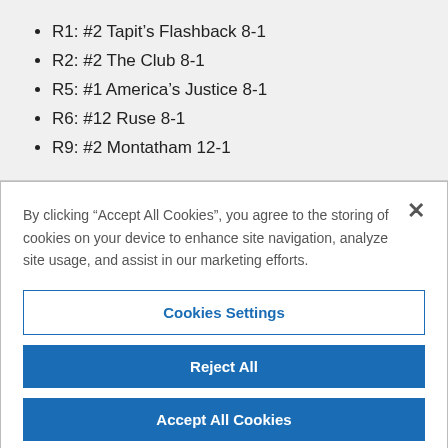R1: #2 Tapit's Flashback 8-1
R2: #2 The Club 8-1
R5: #1 America's Justice 8-1
R6: #12 Ruse 8-1
R9: #2 Montatham 12-1
By clicking “Accept All Cookies”, you agree to the storing of cookies on your device to enhance site navigation, analyze site usage, and assist in our marketing efforts.
Cookies Settings
Reject All
Accept All Cookies